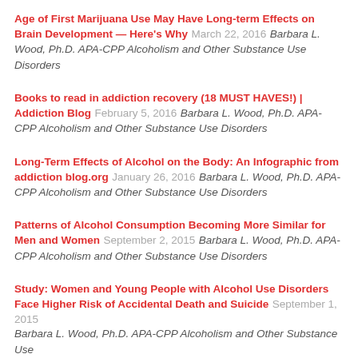Age of First Marijuana Use May Have Long-term Effects on Brain Development — Here's Why March 22, 2016 Barbara L. Wood, Ph.D. APA-CPP Alcoholism and Other Substance Use Disorders
Books to read in addiction recovery (18 MUST HAVES!) | Addiction Blog February 5, 2016 Barbara L. Wood, Ph.D. APA-CPP Alcoholism and Other Substance Use Disorders
Long-Term Effects of Alcohol on the Body: An Infographic from addiction blog.org January 26, 2016 Barbara L. Wood, Ph.D. APA-CPP Alcoholism and Other Substance Use Disorders
Patterns of Alcohol Consumption Becoming More Similar for Men and Women September 2, 2015 Barbara L. Wood, Ph.D. APA-CPP Alcoholism and Other Substance Use Disorders
Study: Women and Young People with Alcohol Use Disorders Face Higher Risk of Accidental Death and Suicide September 1, 2015 Barbara L. Wood, Ph.D. APA-CPP Alcoholism and Other Substance Use